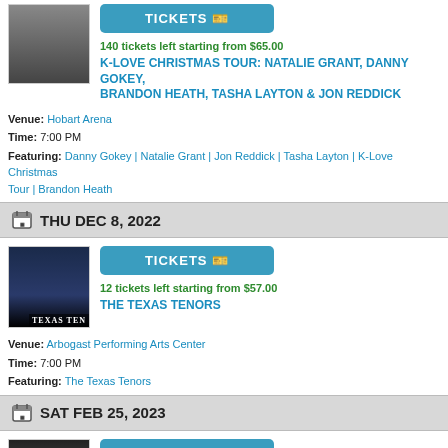[Figure (photo): Photo of performer for K-Love Christmas Tour]
140 tickets left starting from $65.00
K-LOVE CHRISTMAS TOUR: NATALIE GRANT, DANNY GOKEY, BRANDON HEATH, TASHA LAYTON & JON REDDICK
Venue: Hobart Arena
Time: 7:00 PM
Featuring: Danny Gokey | Natalie Grant | Jon Reddick | Tasha Layton | K-Love Christmas Tour | Brandon Heath
THU DEC 8, 2022
[Figure (photo): Texas Tenors promotional photo with text TEXAS TEN]
12 tickets left starting from $57.00
THE TEXAS TENORS
Venue: Arbogast Performing Arts Center
Time: 7:00 PM
Featuring: The Texas Tenors
SAT FEB 25, 2023
[Figure (photo): The Oak Ridge Boys group photo]
22 tickets left starting from $44.00
THE OAK RIDGE BOYS